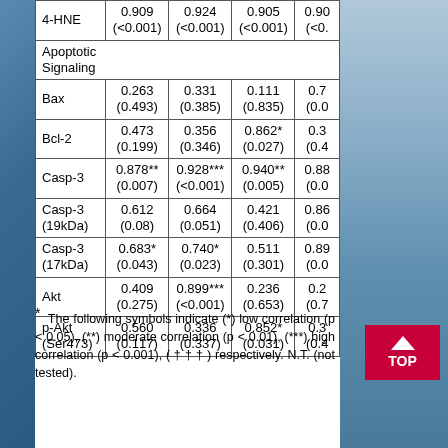|  | Col1 | Col2 | Col3 | Col4 |
| --- | --- | --- | --- | --- |
| 4-HNE | 0.909
(<0.001) | 0.924
(<0.001) | 0.905
(<0.001) | 0.90
(<0.0 |
| Apoptotic Signaling |  |  |  |  |
| Bax | 0.263
(0.493) | 0.331
(0.385) | 0.111
(0.835) | 0.7
(0.0 |
| Bcl-2 | 0.473
(0.199) | 0.356
(0.346) | 0.862*
(0.027) | 0.3
(0.4 |
| Casp-3 | 0.878**
(0.007) | 0.928***
(<0.001) | 0.940**
(0.005) | 0.88
(0.0 |
| Casp-3
(19kDa) | 0.612
(0.08) | 0.664
(0.051) | 0.421
(0.406) | 0.86
(0.0 |
| Casp-3
(17kDa) | 0.683*
(0.043) | 0.740*
(0.023) | 0.511
(0.301) | 0.89
(0.0 |
| Akt | 0.409
(0.275) | 0.899***
(<0.001) | 0.236
(0.653) | 0.2
(0.7 |
| p-Akt
(Ser473) | 0.560
(0.117) | 0.336
(0.337) | 0.852*
(0.031) | 0.3
(0.4 |
* The following symbols indicate (*) low correlation (p < 0.05), (**) moderate correlation (p < 0.01), (***) high correlation (p < 0.001), ( † † † ) respectively. N.T. (not tested).